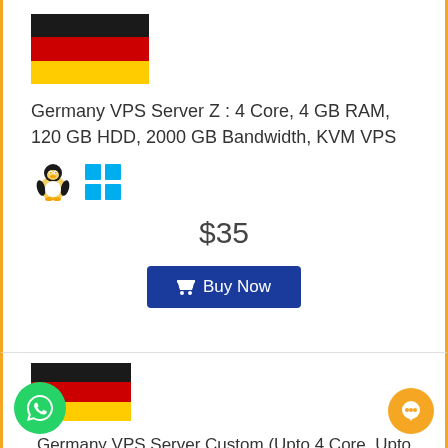[Figure (illustration): German flag (black, red, gold horizontal stripes)]
Germany VPS Server Z : 4 Core, 4 GB RAM, 120 GB HDD, 2000 GB Bandwidth, KVM VPS
[Figure (illustration): Linux penguin icon and Windows logo icon]
$35
Buy Now
[Figure (illustration): German flag (black, red, gold horizontal stripes)]
Germany VPS Server Custom (Upto 4 Core, Upto 16 GB RAM, Upto 300 GB HDD)